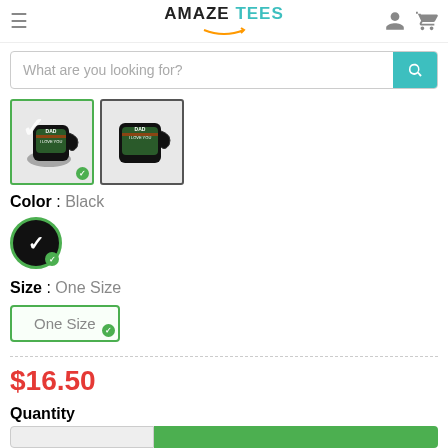AMAZE TEES
[Figure (screenshot): Search bar with placeholder 'What are you looking for?' and teal search button]
[Figure (photo): Two product thumbnail images of black mugs with 'DAD I Love You' design, first selected with green border, second with dark border]
Color : Black
[Figure (other): Black color swatch circle with green border and green checkmark, currently selected]
Size : One Size
[Figure (other): Size button labeled 'One Size' with green border and green checkmark, currently selected]
$16.50
Quantity